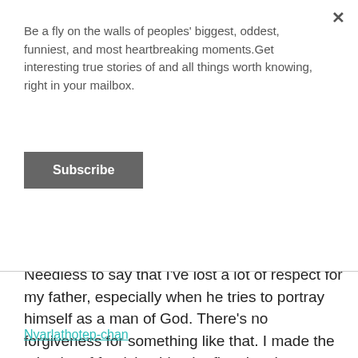Be a fly on the walls of peoples' biggest, oddest, funniest, and most heartbreaking moments.Get interesting true stories of and all things worth knowing, right in your mailbox.
Subscribe
next ten minutes trying to justify his actions.
Needless to say that I've lost a lot of respect for my father, especially when he tries to portray himself as a man of God. There's no forgiveness for something like that. I made the mistake of forgiving him the first time he cheated on my mother, but luckily I caught him before he tried to do it again.
Nyarlathotep-chan